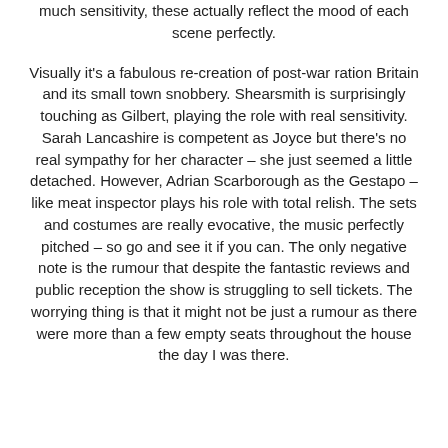much sensitivity, these actually reflect the mood of each scene perfectly.
Visually it's a fabulous re-creation of post-war ration Britain and its small town snobbery. Shearsmith is surprisingly touching as Gilbert, playing the role with real sensitivity. Sarah Lancashire is competent as Joyce but there's no real sympathy for her character – she just seemed a little detached. However, Adrian Scarborough as the Gestapo – like meat inspector plays his role with total relish. The sets and costumes are really evocative, the music perfectly pitched – so go and see it if you can. The only negative note is the rumour that despite the fantastic reviews and public reception the show is struggling to sell tickets. The worrying thing is that it might not be just a rumour as there were more than a few empty seats throughout the house the day I was there.